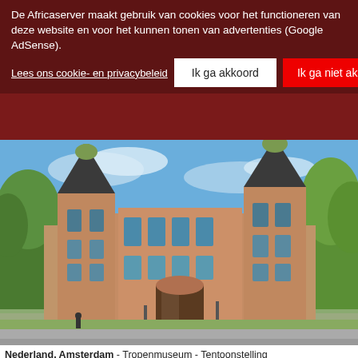De Africaserver maakt gebruik van cookies voor het functioneren van deze website en voor het kunnen tonen van advertenties (Google AdSense).
Lees ons cookie- en privacybeleid
Ik ga akkoord
Ik ga niet akkoord
[Figure (photo): Exterior photograph of the Tropenmuseum in Amsterdam, a large ornate brick building with towers topped with green domed cupolas, surrounded by trees on a sunny day]
Nederland, Amsterdam - Tropenmuseum - Tentoonstelling
Special exhibition: Through the lens of - Photographers from the African Photojournalism